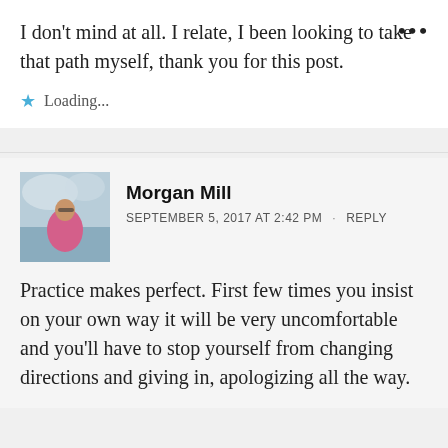I don't mind at all. I relate, I been looking to take that path myself, thank you for this post.
Loading...
Morgan Mill
SEPTEMBER 5, 2017 AT 2:42 PM · REPLY
Practice makes perfect. First few times you insist on your own way it will be very uncomfortable and you'll have to stop yourself from changing directions and giving in, apologizing all the way.